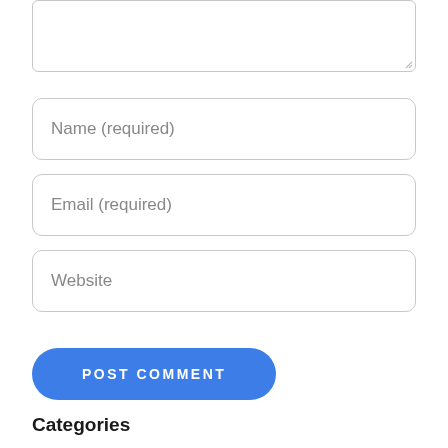[Figure (screenshot): Textarea input box (partially visible at top, with resize handle)]
Name (required)
Email (required)
Website
POST COMMENT
Categories